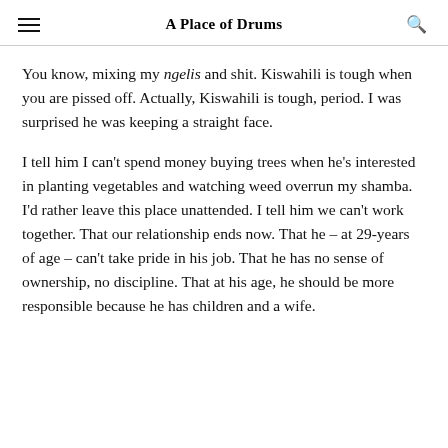A Place of Drums
You know, mixing my ngelis and shit. Kiswahili is tough when you are pissed off. Actually, Kiswahili is tough, period. I was surprised he was keeping a straight face.
I tell him I can't spend money buying trees when he's interested in planting vegetables and watching weed overrun my shamba. I'd rather leave this place unattended. I tell him we can't work together. That our relationship ends now. That he – at 29-years of age – can't take pride in his job. That he has no sense of ownership, no discipline. That at his age, he should be more responsible because he has children and a wife.